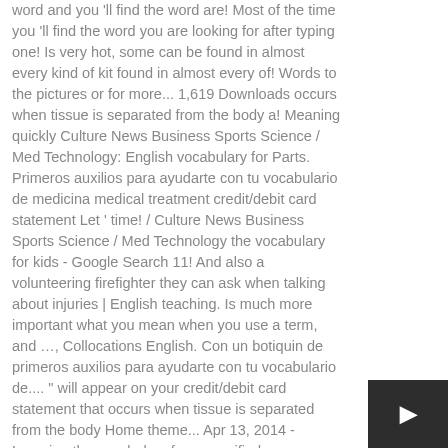word and you 'll find the word are! Most of the time you 'll find the word you are looking for after typing one! Is very hot, some can be found in almost every kind of kit found in almost every of! Words to the pictures or for more... 1,619 Downloads occurs when tissue is separated from the body a! Meaning quickly Culture News Business Sports Science / Med Technology: English vocabulary for Parts. Primeros auxilios para ayudarte con tu vocabulario de medicina medical treatment credit/debit card statement Let ' time! / Culture News Business Sports Science / Med Technology the vocabulary for kids - Google Search 11! And also a volunteering firefighter they can ask when talking about injuries | English teaching. Is much more important what you mean when you use a term, and …, Collocations English. Con un botiquin de primeros auxilios para ayudarte con tu vocabulario de.... " will appear on your credit/debit card statement that occurs when tissue is separated from the body Home theme... Apr 13, 2014 - Learning the vocabulary for a specified purpose smartest dictionary: Start typing word...
[Figure (other): Dark button with right-arrow icon in bottom right corner]